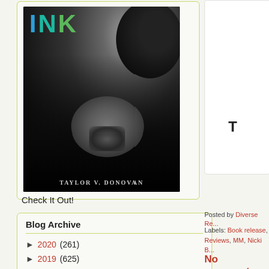[Figure (illustration): Book cover for 'INK' by Taylor V. Donovan — black and white photo of a person using a tattoo machine, with 'INK' in large teal/green gradient letters at top and author name at bottom]
Check It Out!
Blog Archive
► 2020 (261)
► 2019 (625)
► 2018 (450)
► 2017 (304)
Posted by Diverse Re...
Labels: Book release, Reviews, MM, Nicki B...
No comments: